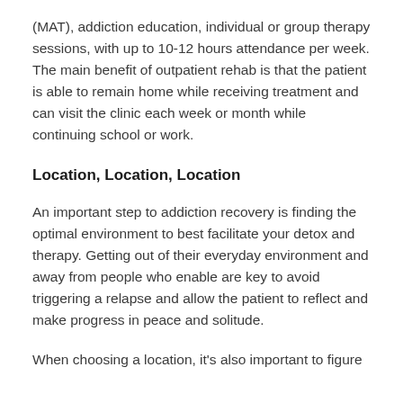(MAT), addiction education, individual or group therapy sessions, with up to 10-12 hours attendance per week. The main benefit of outpatient rehab is that the patient is able to remain home while receiving treatment and can visit the clinic each week or month while continuing school or work.
Location, Location, Location
An important step to addiction recovery is finding the optimal environment to best facilitate your detox and therapy. Getting out of their everyday environment and away from people who enable are key to avoid triggering a relapse and allow the patient to reflect and make progress in peace and solitude.
When choosing a location, it's also important to figure